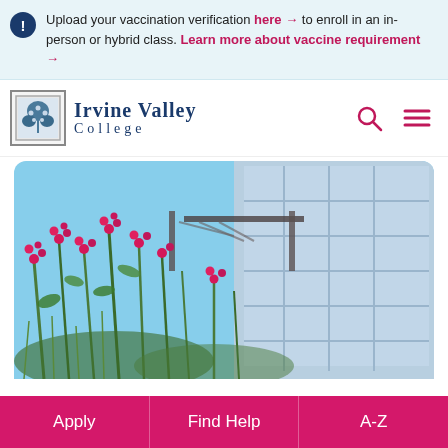Upload your vaccination verification here → to enroll in an in-person or hybrid class. Learn more about vaccine requirement →
[Figure (logo): Irvine Valley College logo with tree emblem and college name in navy blue]
[Figure (photo): Outdoor photo of Irvine Valley College campus showing red/pink flowering plants in foreground and a modern glass building with pergola structure in background under blue sky]
Apply
Find Help
A-Z